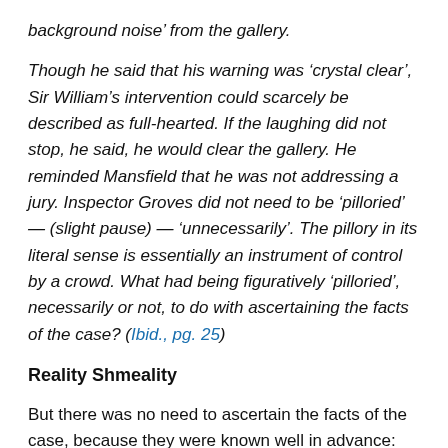background noise’ from the gallery.
Though he said that his warning was ‘crystal clear’, Sir William’s intervention could scarcely be described as full-hearted. If the laughing did not stop, he said, he would clear the gallery. He reminded Mansfield that he was not addressing a jury. Inspector Groves did not need to be ‘pilloried’ — (slight pause) — ‘unnecessarily’. The pillory in its literal sense is essentially an instrument of control by a crowd. What had being figuratively ‘pilloried’, necessarily or not, to do with ascertaining the facts of the case? (Ibid., pg. 25)
Reality Shmeality
But there was no need to ascertain the facts of the case, because they were known well in advance: both the